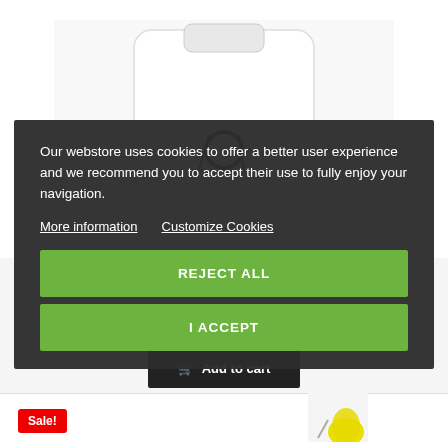[Figure (photo): Product photo of a white garment/bag on white background]
Our webstore uses cookies to offer a better user experience and we recommend you to accept their use to fully enjoy your navigation.
More information   Customize Cookies
REJECT ALL
I ACCEPT
POCHETTE JOINTS 1.9 1.5 2.0 2.3 TDI
12,50 €
Add to cart
+ Add to Compare
Sale!
[Figure (photo): Small product thumbnail with yellow component visible at bottom of page]